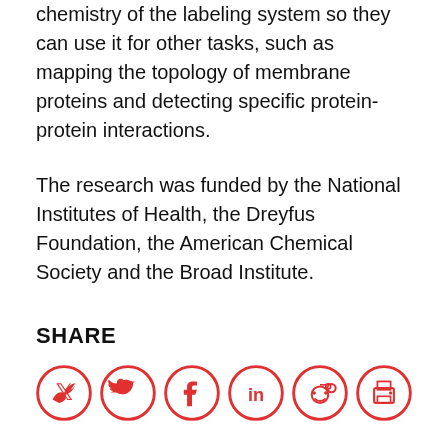chemistry of the labeling system so they can use it for other tasks, such as mapping the topology of membrane proteins and detecting specific protein-protein interactions.
The research was funded by the National Institutes of Health, the Dreyfus Foundation, the American Chemical Society and the Broad Institute.
SHARE
[Figure (infographic): Row of five red circular social media share icons: Twitter, Facebook, LinkedIn, Reddit, Print]
PRESS MENTIONS
NIH